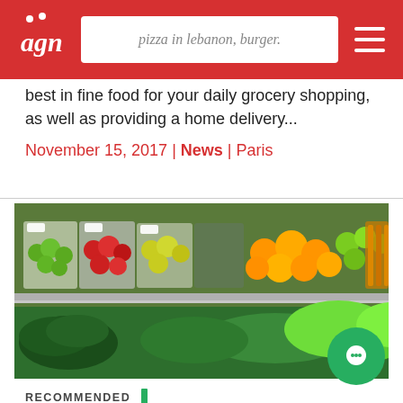pizza in lebanon, burger.
best in fine food for your daily grocery shopping, as well as providing a home delivery...
November 15, 2017 | News | Paris
[Figure (photo): Grocery store display showing shelves of packaged apples, oranges, limes, and other fruits and vegetables including leafy greens.]
RECOMMENDED
Akiki's Fresh Fruits and Vegetables: My Personal Choice
Today and after four long years of not writing a review about my favorite fruit destination, I came back to "AKIKI Fruits & Vegetables" nestled on